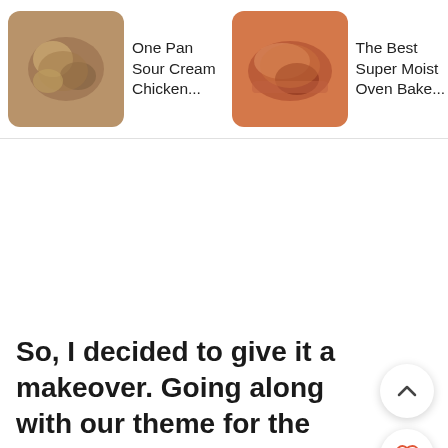[Figure (screenshot): Recipe card strip showing three recipe thumbnails with titles: 'One Pan Sour Cream Chicken...', 'The Best Super Moist Oven Bake...', 'Hawaiian Shoyu Chicken']
So, I decided to give it a makeover. Going along with our theme for the year, this version uses just ONE pan and still brings the big punch of flavor the original recipe